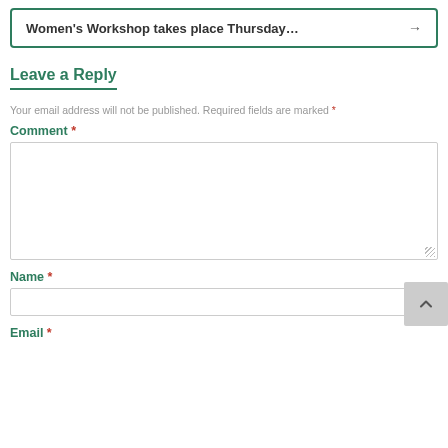Women's Workshop takes place Thursday... →
Leave a Reply
Your email address will not be published. Required fields are marked *
Comment *
Name *
Email *